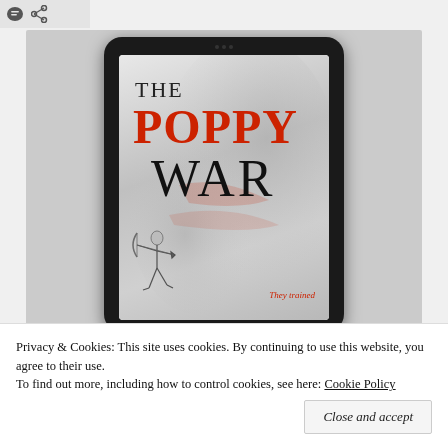[Figure (screenshot): Top-left corner showing social sharing icons (speech bubble and share icon) on a light grey background bar]
[Figure (photo): A tablet device displaying the book cover of 'The Poppy War' — the cover shows the title in large text with 'POPPY' in red and 'WAR' in black, smoke imagery in the background, an archer figure at the bottom, and the subtitle 'They trained' in red italic text at the bottom right. The tablet is shown against a grey textured background.]
Privacy & Cookies: This site uses cookies. By continuing to use this website, you agree to their use.
To find out more, including how to control cookies, see here: Cookie Policy
Close and accept